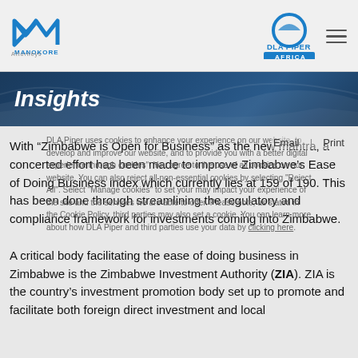MANOKORE Attorneys | DLA PIPER AFRICA
Insights
Email | Print
DLA Piper uses cookies to enhance your experience on our website, to develop and improve our website, and to provide you with a better digital experience through cookies. You can also reject all non-essential cookies by selecting "Reject All". Select "Manage cookies" to set your may impact your experience of the site and the services we are able to offer. Please note, as stated in the Cookie Policy, third parties may also set a cookie. You can learn more about how DLA Piper and third parties use your data by clicking here.
With “Zimbabwe is Open for Business” as the new mantra, a concerted effort has been made to improve Zimbabwe’s Ease of Doing Business index which currently lies at 159 of 190. This has been done through streamlining the regulatory and compliance framework for investments coming into Zimbabwe.
A critical body facilitating the ease of doing business in Zimbabwe is the Zimbabwe Investment Authority (ZIA). ZIA is the country’s investment promotion body set up to promote and facilitate both foreign direct investment and local